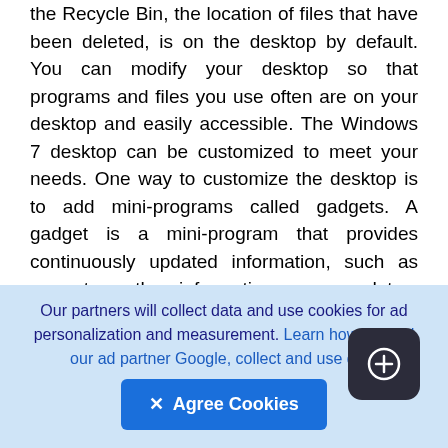the Recycle Bin, the location of files that have been deleted, is on the desktop by default. You can modify your desktop so that programs and files you use often are on your desktop and easily accessible. The Windows 7 desktop can be customized to meet your needs. One way to customize the desktop is to add mini-programs called gadgets. A gadget is a mini-program that provides continuously updated information, such as current weather information, news updates, and online auction updates. In addition to the gadgets that come with Windows 7, you also can download additional gadgets. Across the bottom of the Windows 7 desktop is the taskbar (Figure 6). The taskbar contains the Start button, which you use to access programs, files, folders, and settings on your computer. taskbar
[Figure (other): A dark rounded square floating action button with a circled plus icon in white]
Our partners will collect data and use cookies for ad personalization and measurement. Learn how we and our ad partner Google, collect and use data
✕ Agree Cookies